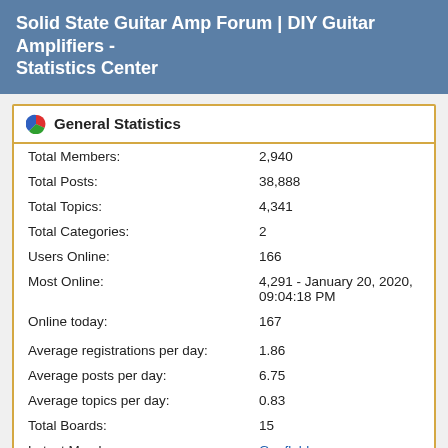Solid State Guitar Amp Forum | DIY Guitar Amplifiers - Statistics Center
General Statistics
| Statistic | Value |
| --- | --- |
| Total Members: | 2,940 |
| Total Posts: | 38,888 |
| Total Topics: | 4,341 |
| Total Categories: | 2 |
| Users Online: | 166 |
| Most Online: | 4,291 - January 20, 2020, 09:04:18 PM |
| Online today: | 167 |
| Average registrations per day: | 1.86 |
| Average posts per day: | 6.75 |
| Average topics per day: | 0.83 |
| Total Boards: | 15 |
| Latest Member: | Gonflable |
| Average online per day: | 166.07 |